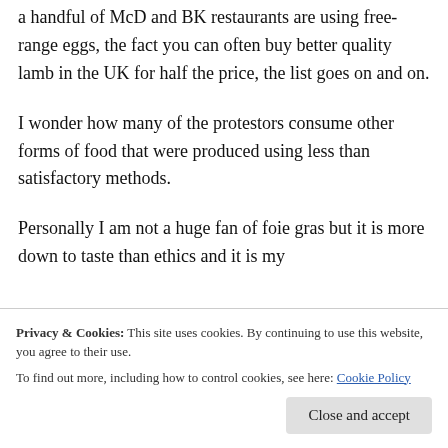a handful of McD and BK restaurants are using free-range eggs, the fact you can often buy better quality lamb in the UK for half the price, the list goes on and on.
I wonder how many of the protestors consume other forms of food that were produced using less than satisfactory methods.
Personally I am not a huge fan of foie gras but it is more down to taste than ethics and it is my
The fact that you have done the research and
Privacy & Cookies: This site uses cookies. By continuing to use this website, you agree to their use.
To find out more, including how to control cookies, see here: Cookie Policy
Close and accept